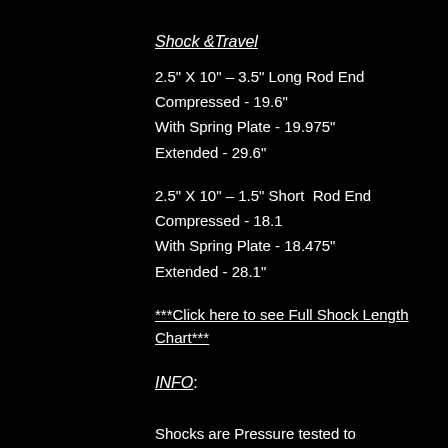Shock &Travel
2.5" X 10" – 3.5" Long Rod End
Compressed - 19.6"
With Spring Plate - 19.975"
Extended - 29.6"
2.5" X 10" – 1.5" Short  Rod End
Compressed - 18.1
With Spring Plate - 18.475"
Extended - 28.1"
***Click here to see Full Shock Length Chart***
INFO:
Shocks are Pressure tested to 300PSI for 24 hours to ensure